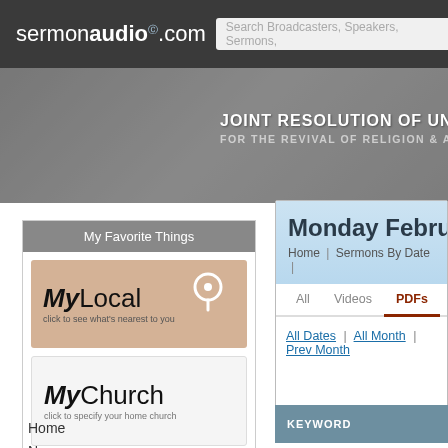sermonaudio.com
Search Broadcasters, Speakers, Sermons,
[Figure (screenshot): SermonAudio.com website screenshot showing navigation, MyLocal and MyChurch widgets, and sermon browsing panel for Monday February with PDFs tab selected]
JOINT RESOLUTION OF UNITED PR
FOR THE REVIVAL OF RELIGION & ADVANC
My Favorite Things
MyLocal
click to see what's nearest to you
MyChurch
click to specify your home church
Monday February
Home | Sermons By Date
All   Videos   PDFs
All Dates | All Month | Prev Month
Home
Newsroom, ALL
Events | Notices | Blogs
Newest Audio | Video | Clips
KEYWORD